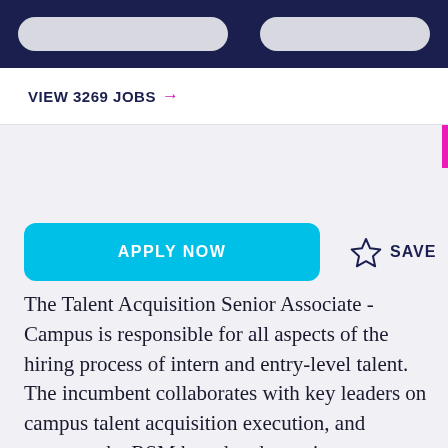VIEW 3269 JOBS →
APPLY NOW
SAVE
The Talent Acquisition Senior Associate - Campus is responsible for all aspects of the hiring process of intern and entry-level talent. The incumbent collaborates with key leaders on campus talent acquisition execution, and supports the RSM brand and recruitment marketing in the West region, focused in the Cincinnati, OH market to include Dayton, OH and Columbus.